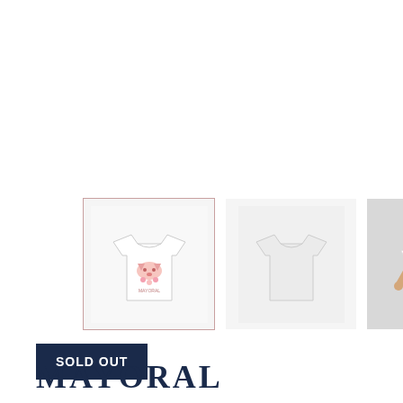[Figure (photo): Three product images of a white children's t-shirt with a pink graphic print. The first image (selected/highlighted with border) shows the shirt front with graphic. The second shows the shirt from a different angle (back/plain). The third shows a young girl wearing the shirt with pink shorts.]
SOLD OUT
MAYORAL